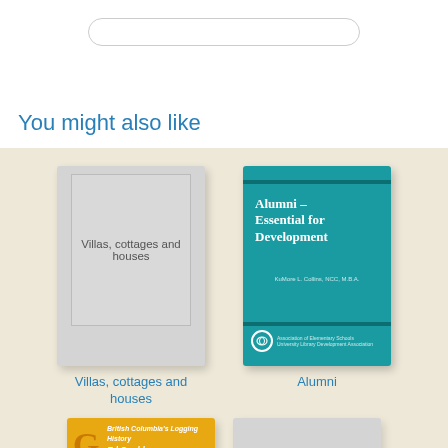You might also like
[Figure (illustration): Book cover: Villas, cottages and houses (gray placeholder cover)]
Villas, cottages and houses
[Figure (illustration): Book cover: Alumni – Essential for Development (teal cover)]
Alumni
[Figure (illustration): Book cover: British Columbia's Logging History – Ed Gould (yellow/gold cover)]
[Figure (illustration): Book cover: Nobilis (gray placeholder cover)]